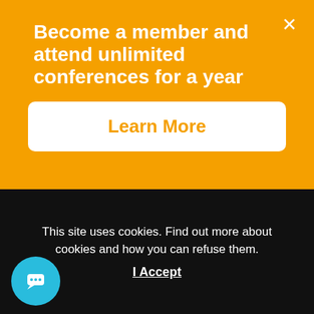Become a member and attend unlimited conferences for a year
Learn More
+420 255 719 045
[Figure (infographic): Three social media icon circles: LinkedIn, Facebook, Twitter in cyan/teal color]
This site uses cookies. Find out more about cookies and how you can refuse them.
I Accept